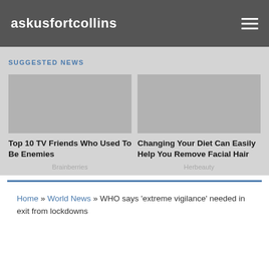askusfortcollins
SUGGESTED NEWS
Top 10 TV Friends Who Used To Be Enemies
Brainberries
Changing Your Diet Can Easily Help You Remove Facial Hair
Herbeauty
Home » World News » WHO says 'extreme vigilance' needed in exit from lockdowns